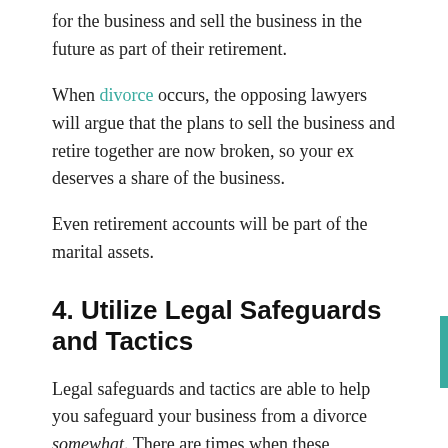for the business and sell the business in the future as part of their retirement.
When divorce occurs, the opposing lawyers will argue that the plans to sell the business and retire together are now broken, so your ex deserves a share of the business.
Even retirement accounts will be part of the marital assets.
4. Utilize Legal Safeguards and Tactics
Legal safeguards and tactics are able to help you safeguard your business from a divorce somewhat. There are times when these safeguards can be overridden, but they will help strengthen your claim for full control over your business.